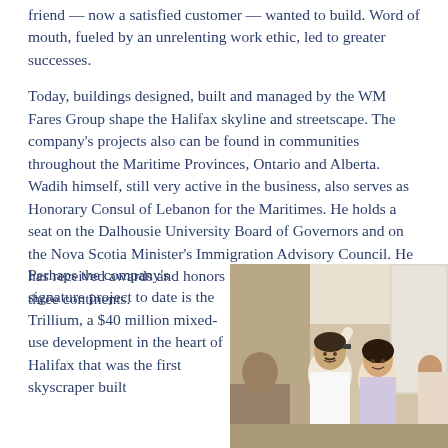friend — now a satisfied customer — wanted to build. Word of mouth, fueled by an unrelenting work ethic, led to greater successes.
Today, buildings designed, built and managed by the WM Fares Group shape the Halifax skyline and streetscape. The company's projects also can be found in communities throughout the Maritime Provinces, Ontario and Alberta. Wadih himself, still very active in the business, also serves as Honorary Consul of Lebanon for the Maritimes. He holds a seat on the Dalhousie University Board of Governors and on the Nova Scotia Minister's Immigration Advisory Council. He has received awards and honors from organizations spanning three continents.
Perhaps the company's signature project to date is the Trillium, a $40 million mixed-use development in the heart of Halifax that was the first skyscraper built
[Figure (photo): A black and white or vintage color photograph showing two or more people at what appears to be a social gathering or party, one person with arm raised.]